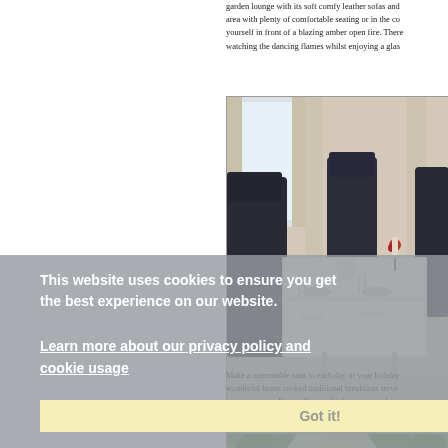garden lounge with its soft comfy leather sofas and area with plenty of comfortable seating or in the co... yourself in front of a blazing amber open fire. There... watching the dancing flames whilst enjoying a glas...
[Figure (photo): Elegant hotel dining room with dark leather chairs, white tablecloths, place settings, and a red rose on the table. Curtained windows in background.]
Make a memorable start to each day of your holiday wonderful home cooked traditional breakfasts serve... in our spacious Dining Room which enjoys an abun...
This website uses cookies to ensure you get the best experience on our website.
Learn more about our privacy policy and cookie usage
Got it!
[Figure (photo): Garden exterior view with green trees and lawn, outdoor seating visible.]